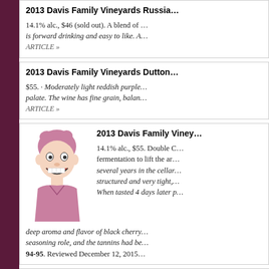2013 Davis Family Vineyards Russia
14.1% alc., $46 (sold out). A blend of ... is forward drinking and easy to like. A ARTICLE »
2013 Davis Family Vineyards Dutton
$55. · Moderately light reddish purple ... palate. The wine has fine grain, balan... ARTICLE »
[Figure (illustration): Cartoon caricature illustration of a person with exaggerated grinning expression, pinkish hair and clothing]
2013 Davis Family Viney...
14.1% alc., $55. Double C... fermentation to lift the ar... several years in the cellar... structured and very tight,... When tasted 4 days later p... deep aroma and flavor of black cherry... seasoning role, and the tannins had be... 94-95. Reviewed December 12, 2015
2013 Davis Family Vineyards Starr R
$55. A 20-year-old vineyard in a relati... fruits greet the drinker in this flashy, e... tight acidity. Score: 92. Reviewed Dec...